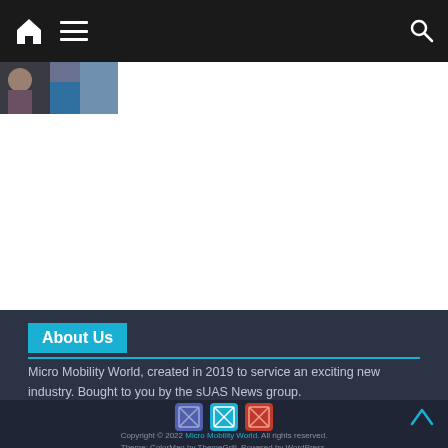Navigation bar with home icon, menu icon, and search icon
[Figure (photo): Partial photo thumbnail visible at top left of content area]
About Us
Micro Mobility World, created in 2019 to service an exciting new industry. Bought to you by the sUAS News group.
[Figure (other): Three social media icon buttons (blue/purple, cyan, red) with broken image placeholders]
Copyright © 2022 Micro Mobility World. All rights reserved. Theme: ColorMag by ThemeGrill. Powered by WordPress.